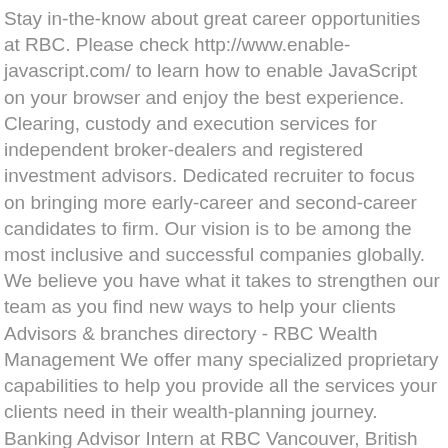Stay in-the-know about great career opportunities at RBC. Please check http://www.enable-javascript.com/ to learn how to enable JavaScript on your browser and enjoy the best experience. Clearing, custody and execution services for independent broker-dealers and registered investment advisors. Dedicated recruiter to focus on bringing more early-career and second-career candidates to firm. Our vision is to be among the most inclusive and successful companies globally. We believe you have what it takes to strengthen our team as you find new ways to help your clients Advisors & branches directory - RBC Wealth Management We offer many specialized proprietary capabilities to help you provide all the services your clients need in their wealth-planning journey. Banking Advisor Intern at RBC Vancouver, British Columbia, Canada 139 connections. transform their futures. Investment Banking. World-class sales training, coaching, and development opportunities; Support from a dynamic, collaborative, progressive, and high performing team, as well as world-class tools and training; Opportunity to achieve great